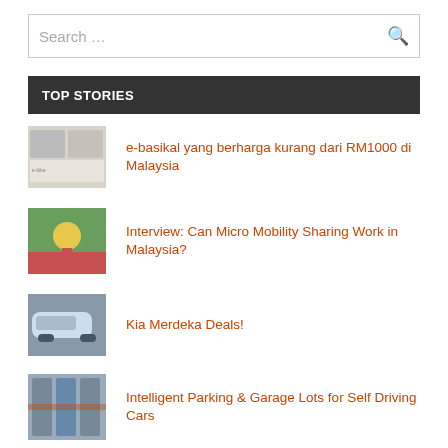Search …
TOP STORIES
e-basikal yang berharga kurang dari RM1000 di Malaysia
Interview: Can Micro Mobility Sharing Work in Malaysia?
Kia Merdeka Deals!
Intelligent Parking & Garage Lots for Self Driving Cars
A Sheer Riding Pleasure Electric Scooter